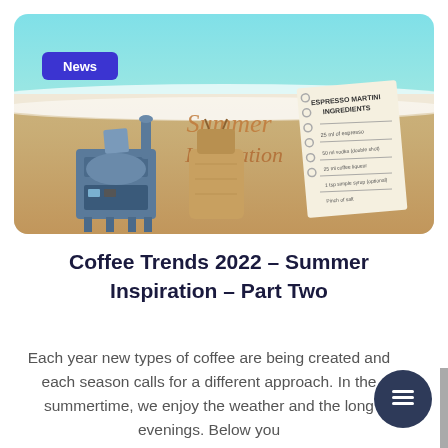[Figure (illustration): Banner image showing a summer beach scene with turquoise water and sand. Text overlay reads 'Summer Inspiration' in decorative script. A blue industrial coffee roaster machine is on the left, a burlap coffee sack in the center, and a spiral notepad with 'Espresso Martini Ingredients' recipe on the right. A 'News' badge in purple is overlaid top-left.]
Coffee Trends 2022 – Summer Inspiration – Part Two
Each year new types of coffee are being created and each season calls for a different approach. In the summertime, we enjoy the weather and the long evenings. Below you